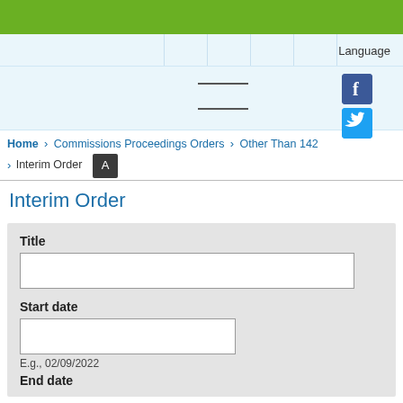Language
Breadcrumb: Home > Commissions Proceedings Orders > Other Than 142 > Interim Order
Interim Order
Title
Start date
E.g., 02/09/2022
End date